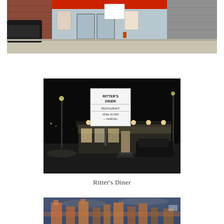[Figure (photo): Daytime photo of a brick storefront with red awning, glass doors, promotional posters in windows, parked cars on the street, and a gray stone building adjacent on the right.]
[Figure (photo): Black and white night photo of Ritter's Diner with illuminated sign reading 'RITTER'S DINER RESTAURANT OPEN 24 HRS - PARKING', showing the diner building lit up with cars in the parking lot.]
Ritter's Diner
[Figure (photo): Dusk or twilight photo of a city skyline with tall buildings silhouetted against a blue-gray cloudy sky with warm orange tones on the horizon.]